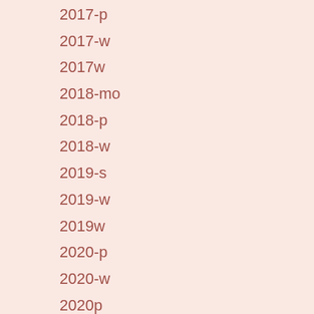2017-p
2017-w
2017w
2018-mo
2018-p
2018-w
2019-s
2019-w
2019w
2020-p
2020-w
2020p
2020w
2021-w
2022-p
2022-w
20th